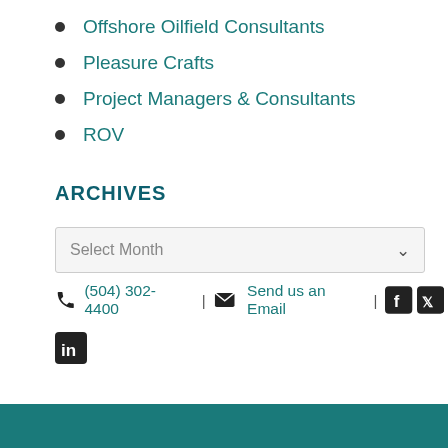Offshore Oilfield Consultants
Pleasure Crafts
Project Managers & Consultants
ROV
ARCHIVES
Select Month
(504) 302-4400 | Send us an Email |